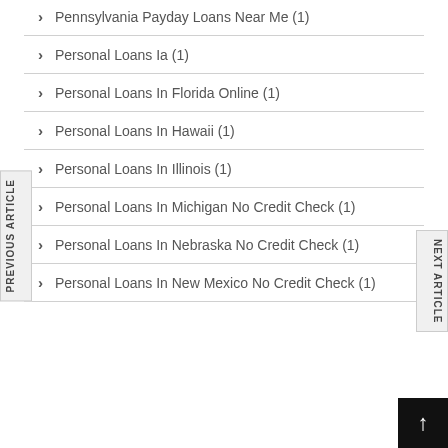Pennsylvania Payday Loans Near Me (1)
Personal Loans Ia (1)
Personal Loans In Florida Online (1)
Personal Loans In Hawaii (1)
Personal Loans In Illinois (1)
Personal Loans In Michigan No Credit Check (1)
Personal Loans In Nebraska No Credit Check (1)
Personal Loans In New Mexico No Credit Check (1)